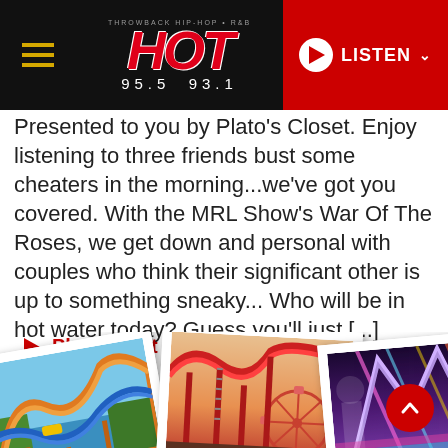HOT 95.5 93.1 — LISTEN
Presented to you by Plato's Closet. Enjoy listening to three friends bust some cheaters in the morning...we've got you covered. With the MRL Show's War Of The Roses, we get down and personal with couples who think their significant other is up to something sneaky... Who will be in hot water today? Guess you'll just [...]
Play Latest (August 29th)
240 EPISODES
[Figure (photo): Three overlapping polaroid-style photos of roller coasters and amusement park rides arranged in a strip at the bottom of the page.]